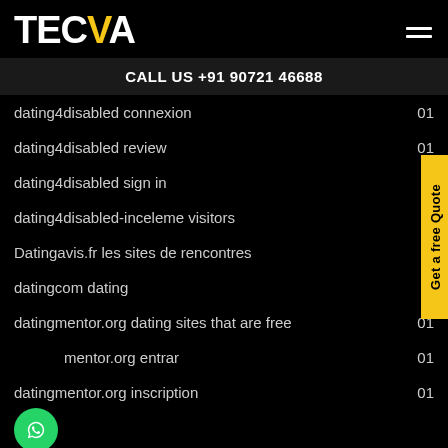TECVA
CALL US +91 90721 46688
dating4disabled connexion  01
dating4disabled review  01
dating4disabled sign in
dating4disabled-inceleme visitors
Datingavis.fr les sites de rencontres
datingcom dating
datingmentor.org dating sites that are free  01
datingmentor.org entrar  01
datingmentor.org inscription  01